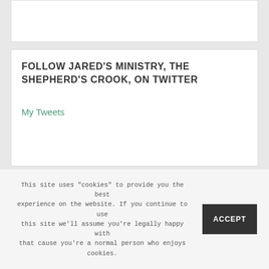FOLLOW JARED'S MINISTRY, THE SHEPHERD'S CROOK, ON TWITTER
My Tweets
Copyright © 2022 · An HNR.GD Network site built by TheMajestysMen.com. Join us! · Log in
This site uses "cookies" to provide you the best experience on the website. If you continue to use this site we'll assume you're legally happy with that cause you're a normal person who enjoys cookies.